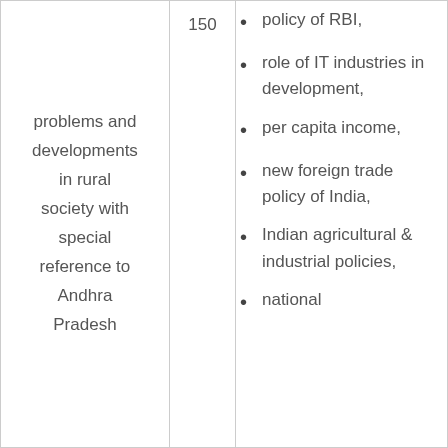|  |  |  |
| --- | --- | --- |
| problems and developments in rural society with special reference to Andhra Pradesh | 150 | policy of RBI,
role of IT industries in development,
per capita income,
new foreign trade policy of India,
Indian agricultural & industrial policies,
national |